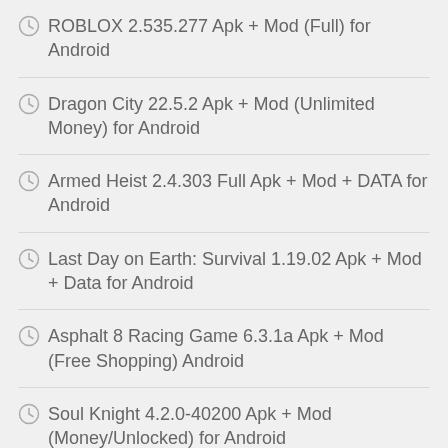ROBLOX 2.535.277 Apk + Mod (Full) for Android
Dragon City 22.5.2 Apk + Mod (Unlimited Money) for Android
Armed Heist 2.4.303 Full Apk + Mod + DATA for Android
Last Day on Earth: Survival 1.19.02 Apk + Mod + Data for Android
Asphalt 8 Racing Game 6.3.1a Apk + Mod (Free Shopping) Android
Soul Knight 4.2.0-40200 Apk + Mod (Money/Unlocked) for Android
CATEGORIES